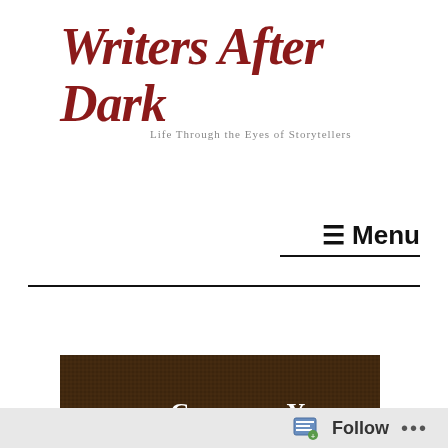Writers After Dark
Life Through the Eyes of Storytellers
☰ Menu
[Figure (illustration): Banner image showing colorful game pawns (yellow, blue, white, green) on a dark brown textured background with the text 'Creating Your Character' in white serif font.]
Follow ...